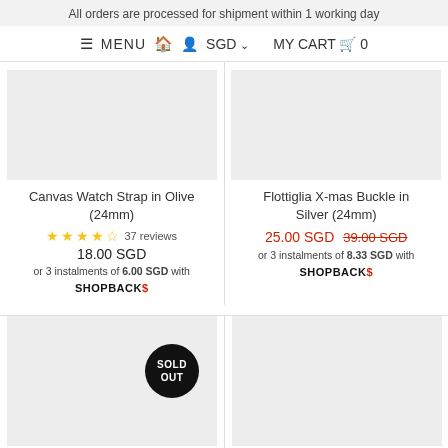All orders are processed for shipment within 1 working day
≡ MENU  🏠  👤  SGD ∨    MY CART 🛒 0
Canvas Watch Strap in Olive (24mm)
★★★★⯨ 37 reviews
18.00 SGD
or 3 instalments of 6.00 SGD with SHOPBACK$
Flottiglia X-mas Buckle in Silver (24mm)
25.00 SGD  39.00 SGD
or 3 instalments of 8.33 SGD with SHOPBACK$
[Figure (photo): Product image placeholder for Canvas Watch Strap in Olive (24mm)]
[Figure (photo): Product image placeholder for Flottiglia X-mas Buckle in Silver (24mm)]
[Figure (photo): Product image placeholder with SOLD OUT badge]
[Figure (photo): Product image placeholder]